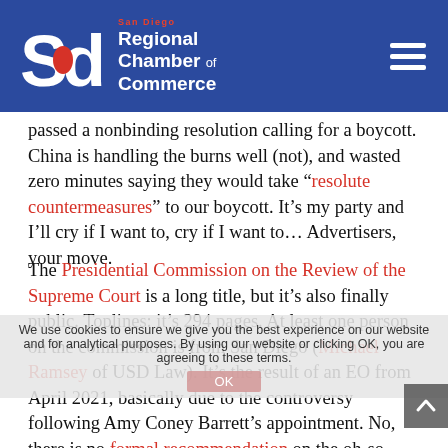[Figure (logo): San Diego Regional Chamber of Commerce logo — white SD letterform on blue background with red accent, white text reading 'San Diego Regional Chamber of Commerce', hamburger menu icon on right]
passed a nonbinding resolution calling for a boycott. China is handling the burns well (not), and wasted zero minutes saying they would take “resolute countermeasures” to our boycott. It’s my party and I’ll cry if I want to, cry if I want to… Advertisers, your move.
The Presidential Commission on the Review of the Supreme Court is a long title, but it’s also finally public. Toplines: it’s 294 pages. At least one person on the commission is from San Diego (Michael Ramsey of USD Law). It’s the result of an EO from April 2021, basically due to the controversy following Amy Coney Barrett’s appointment. No, there is no formal recommendation on the oh-so-controversial
We use cookies to ensure we give you the best experience on our website and for analytical purposes. By using our website or clicking OK, you are agreeing to these terms.